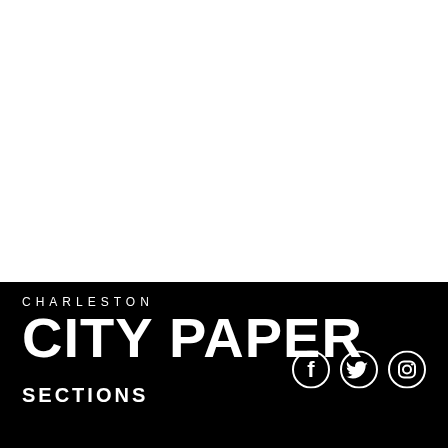[Figure (other): White blank area upper portion of page]
CHARLESTON CITY PAPER
[Figure (other): Social media icons: Facebook, Twitter, Instagram in white on black background]
SECTIONS